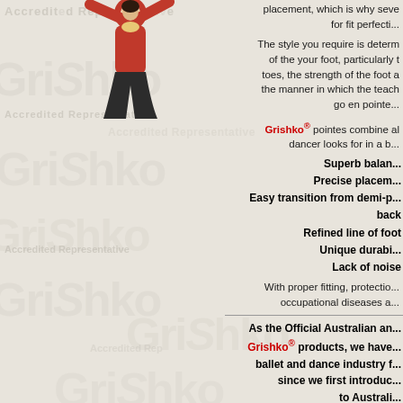[Figure (photo): Dancer in red costume with arms raised, Grishko promotional image]
placement, which is why seve... for fit perfecti...
The style you require is determ... of the your foot, particularly t... toes, the strength of the foot a... the manner in which the teach... go en pointe...
Grishko® pointes combine all... dancer looks for in a b...
Superb balan...
Precise placem...
Easy transition from demi-p... back
Refined line of foot
Unique durabi...
Lack of noise
With proper fitting, protectio... occupational diseases a...
As the Official Australian an... Grishko® products, we have... ballet and dance industry f... since we first introduc... to Australi...
Grishko Australia is a pro... RAD, AICD, Cccchet... Sydney Eisteddfodds and th... Australasian Awards – Dan...